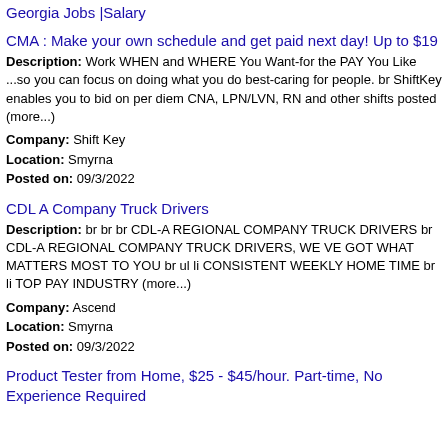Georgia Jobs |Salary
CMA : Make your own schedule and get paid next day! Up to $19
Description: Work WHEN and WHERE You Want-for the PAY You Like ...so you can focus on doing what you do best-caring for people. br ShiftKey enables you to bid on per diem CNA, LPN/LVN, RN and other shifts posted (more...)
Company: Shift Key
Location: Smyrna
Posted on: 09/3/2022
CDL A Company Truck Drivers
Description: br br br CDL-A REGIONAL COMPANY TRUCK DRIVERS br CDL-A REGIONAL COMPANY TRUCK DRIVERS, WE VE GOT WHAT MATTERS MOST TO YOU br ul li CONSISTENT WEEKLY HOME TIME br li TOP PAY INDUSTRY (more...)
Company: Ascend
Location: Smyrna
Posted on: 09/3/2022
Product Tester from Home, $25 - $45/hour. Part-time, No Experience Required